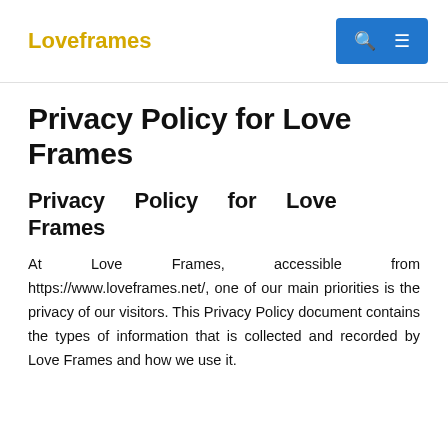Loveframes
Privacy Policy for Love Frames
Privacy Policy for Love Frames
At Love Frames, accessible from https://www.loveframes.net/, one of our main priorities is the privacy of our visitors. This Privacy Policy document contains the types of information that is collected and recorded by Love Frames and how we use it.